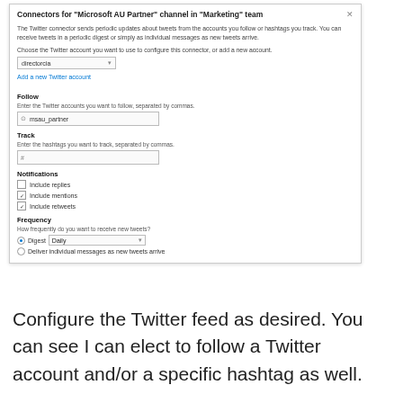[Figure (screenshot): Twitter connector configuration dialog in Microsoft Teams for 'Microsoft AU Partner' channel in 'Marketing' team. Shows fields to follow Twitter accounts (msau_partner), track hashtags, notification checkboxes (Include replies unchecked, Include mentions checked, Include retweets checked), and frequency settings (Digest - Daily radio selected, Deliver individual messages as new tweets arrive radio unselected).]
Configure the Twitter feed as desired. You can see I can elect to follow a Twitter account and/or a specific hashtag as well.